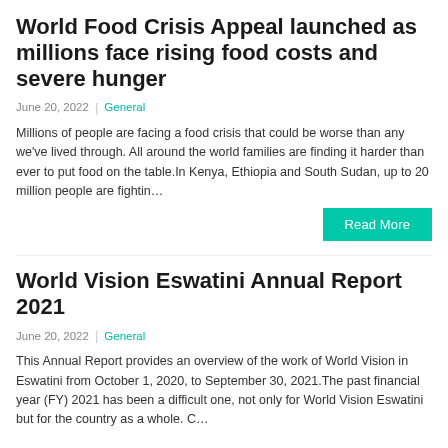World Food Crisis Appeal launched as millions face rising food costs and severe hunger
June 20, 2022  |  General
Millions of people are facing a food crisis that could be worse than any we've lived through. All around the world families are finding it harder than ever to put food on the table.In Kenya, Ethiopia and South Sudan, up to 20 million people are fightin…
World Vision Eswatini Annual Report 2021
June 20, 2022  |  General
This Annual Report provides an overview of the work of World Vision in Eswatini from October 1, 2020, to September 30, 2021.The past financial year (FY) 2021 has been a difficult one, not only for World Vision Eswatini but for the country as a whole. C…